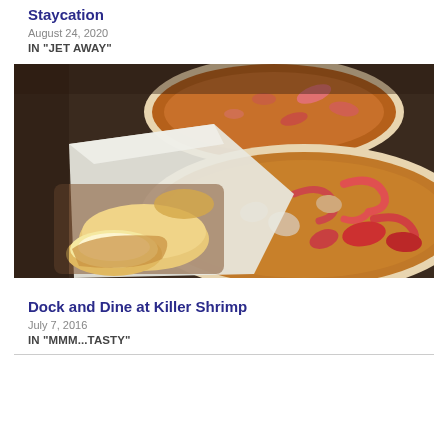Staycation
August 24, 2020
IN "JET AWAY"
[Figure (photo): Food photo showing two white bowls of shrimp stew/gumbo with seafood including shrimp, crawfish and mushrooms in a broth, alongside a basket of bread rolls with parchment paper on a dark wooden table.]
Dock and Dine at Killer Shrimp
July 7, 2016
IN "MMM...TASTY"